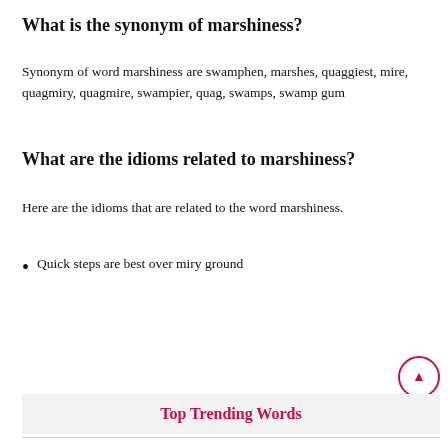What is the synonym of marshiness?
Synonym of word marshiness are swamphen, marshes, quaggiest, mire, quagmiry, quagmire, swampier, quag, swamps, swamp gum
What are the idioms related to marshiness?
Here are the idioms that are related to the word marshiness.
Quick steps are best over miry ground
[Figure (infographic): Banner with two sections: left side orange with 'Urdu Transliteration in Roman' text, right side red/pink with 'Paragraph Transliteration Click Here >>' button]
Top Trending Words